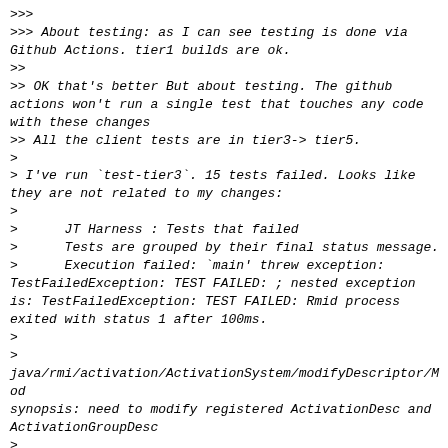>>>
>>> About testing: as I can see testing is done via Github Actions. tier1 builds are ok.
>>
>> OK that's better But about testing. The github actions won't run a single test that touches any code with these changes
>> All the client tests are in tier3-> tier5.
>
> I've run `test-tier3`. 15 tests failed. Looks like they are not related to my changes:
>
>      JT Harness : Tests that failed
>      Tests are grouped by their final status message.
>      Execution failed: `main' threw exception: TestFailedException: TEST FAILED: ; nested exception is: TestFailedException: TEST FAILED: Rmid process exited with status 1 after 100ms.
>
>
java/rmi/activation/ActivationSystem/modifyDescriptor/Mod synopsis: need to modify registered ActivationDesc and ActivationGroupDesc
>
>      Execution failed: `main' threw exception: TestFailedException: TEST FAILED: ; nested exception is: TestFailedException: TEST FAILED: Test1 failed: a service would not restart
>
>